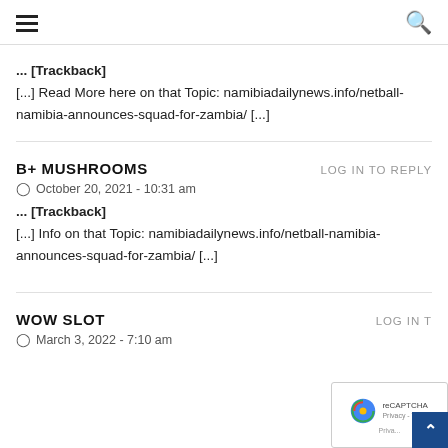☰  🔍
... [Trackback]
[...] Read More here on that Topic: namibiadailynews.info/netball-namibia-announces-squad-for-zambia/ [...]
B+ MUSHROOMS
LOG IN TO REPLY
October 20, 2021 - 10:31 am
... [Trackback]
[...] Info on that Topic: namibiadailynews.info/netball-namibia-announces-squad-for-zambia/ [...]
WOW SLOT
LOG IN TO REPLY
March 3, 2022 - 7:10 am